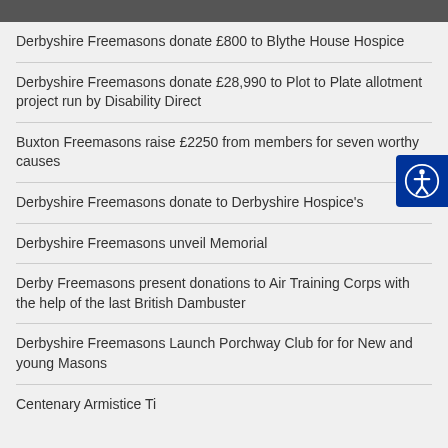Derbyshire Freemasons donate £800 to Blythe House Hospice
Derbyshire Freemasons donate £28,990 to Plot to Plate allotment project run by Disability Direct
Buxton Freemasons raise £2250 from members for seven worthy causes
Derbyshire Freemasons donate to Derbyshire Hospice's
Derbyshire Freemasons unveil Memorial
Derby Freemasons present donations to Air Training Corps with the help of the last British Dambuster
Derbyshire Freemasons Launch Porchway Club for for New and young Masons
Centenary Armistice Ti…